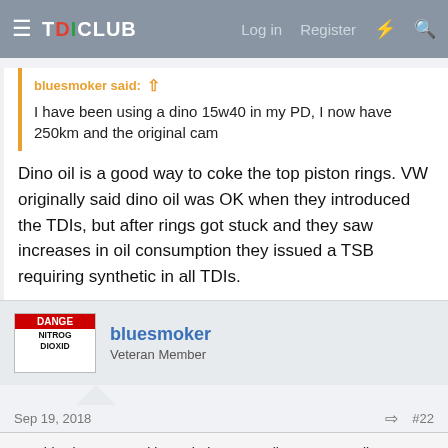TDICLUB — Log in  Register
bluesmoker said: ↑
I have been using a dino 15w40 in my PD, I now have 250km and the original cam
Dino oil is a good way to coke the top piston rings. VW originally said dino oil was OK when they introduced the TDIs, but after rings got stuck and they saw increases in oil consumption they issued a TSB requiring synthetic in all TDIs.
bluesmoker
Veteran Member
Sep 19, 2018  #22
This site uses cookies to help personalise content, tailor your experience and to keep you logged in if you register.
By continuing to use this site, you are consenting to our use of cookies.
Accept  Learn more...